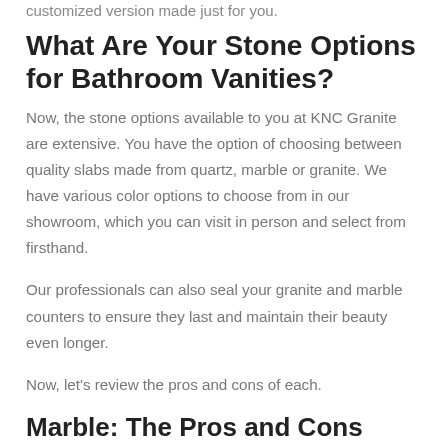customized version made just for you.
What Are Your Stone Options for Bathroom Vanities?
Now, the stone options available to you at KNC Granite are extensive. You have the option of choosing between quality slabs made from quartz, marble or granite. We have various color options to choose from in our showroom, which you can visit in person and select from firsthand.
Our professionals can also seal your granite and marble counters to ensure they last and maintain their beauty even longer.
Now, let's review the pros and cons of each.
Marble: The Pros and Cons
You just can't beat the beauty of marble stone counters. For